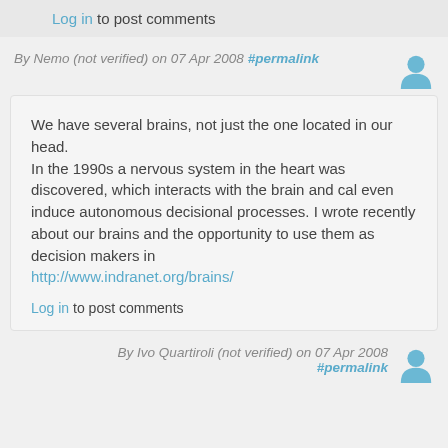Log in to post comments
By Nemo (not verified) on 07 Apr 2008 #permalink
We have several brains, not just the one located in our head.
In the 1990s a nervous system in the heart was discovered, which interacts with the brain and cal even induce autonomous decisional processes. I wrote recently about our brains and the opportunity to use them as decision makers in http://www.indranet.org/brains/
Log in to post comments
By Ivo Quartiroli (not verified) on 07 Apr 2008 #permalink